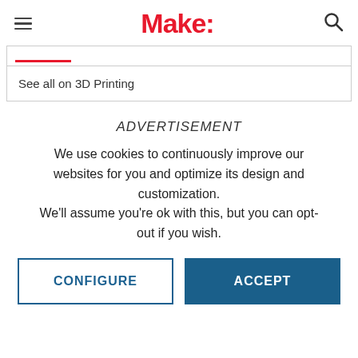Make:
See all on 3D Printing
ADVERTISEMENT
We use cookies to continuously improve our websites for you and optimize its design and customization.
We'll assume you're ok with this, but you can opt-out if you wish.
CONFIGURE
ACCEPT